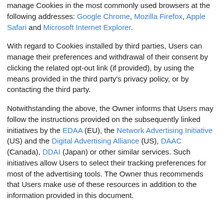manage Cookies in the most commonly used browsers at the following addresses: Google Chrome, Mozilla Firefox, Apple Safari and Microsoft Internet Explorer.
With regard to Cookies installed by third parties, Users can manage their preferences and withdrawal of their consent by clicking the related opt-out link (if provided), by using the means provided in the third party's privacy policy, or by contacting the third party.
Notwithstanding the above, the Owner informs that Users may follow the instructions provided on the subsequently linked initiatives by the EDAA (EU), the Network Advertising Initiative (US) and the Digital Advertising Alliance (US), DAAC (Canada), DDAI (Japan) or other similar services. Such initiatives allow Users to select their tracking preferences for most of the advertising tools. The Owner thus recommends that Users make use of these resources in addition to the information provided in this document.